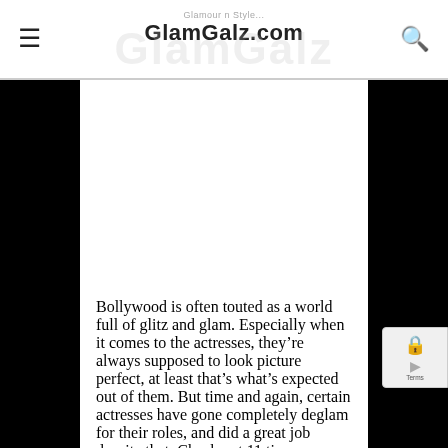GlamGalz.com
[Figure (other): Advertisement banner area (white space)]
Bollywood is often touted as a world full of glitz and glam. Especially when it comes to the actresses, they're always supposed to look picture perfect, at least that's what's expected out of them. But time and again, certain actresses have gone completely deglam for their roles, and did a great job despite that. Check out 11 times actresses went deglam for